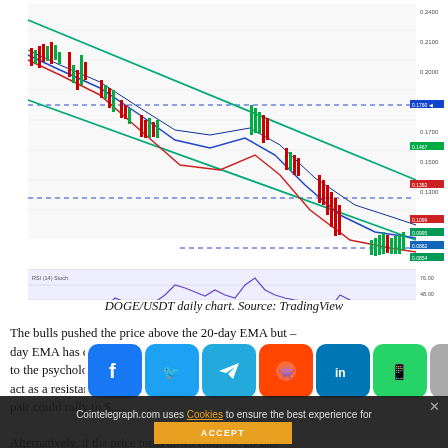[Figure (continuous-plot): DOGE/USDT daily candlestick chart from TradingView showing price action with EMA lines (blue, red, green), dashed horizontal support/resistance levels (blue dashed lines), and a lower RSI indicator panel. Price levels visible on right axis around 0.08-0.24 range. Time axis shows Oct through Jun. TradingView watermark bottom left.]
DOGE/USDT daily chart. Source: TradingView
The bulls pushed the price above the 20-day — se to the psychological level at $0.10. This level may again act as a resistance but if bulls overcome this hurdle, the pair could rally to $...
Alternatively, if the price turns down from the 20-day